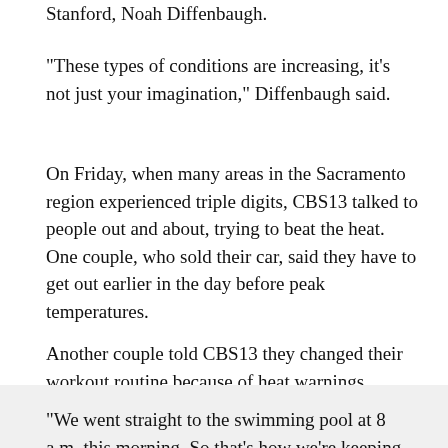Stanford, Noah Diffenbaugh.
"These types of conditions are increasing, it's not just your imagination," Diffenbaugh said.
On Friday, when many areas in the Sacramento region experienced triple digits, CBS13 talked to people out and about, trying to beat the heat. One couple, who sold their car, said they have to get out earlier in the day before peak temperatures.
Another couple told CBS13 they changed their workout routine because of heat warnings.
"We went straight to the swimming pool at 8 a.m. this morning. So that's how we're keeping cool," Naomi